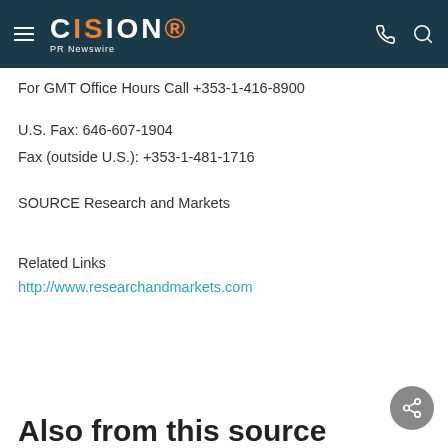CISION PR Newswire
For GMT Office Hours Call +353-1-416-8900
U.S. Fax: 646-607-1904
Fax (outside U.S.): +353-1-481-1716
SOURCE Research and Markets
Related Links
http://www.researchandmarkets.com
Also from this source